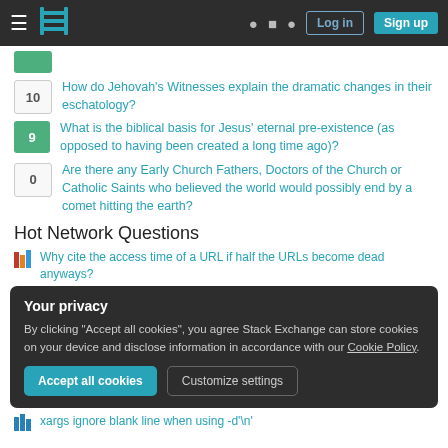Stack Exchange navigation bar with Log in and Sign up buttons
10 — How do Jehovah's Witnesses explain the dramatic changes in their eschatology?
9 — What is the biblical basis for Jesus' eternal pre-existence (as opposed to having been created a long time ago)?
0 — Are there any Early Church Fathers, Doctors of the Church or Catholic Saints who believed the world would possibly end by a comet hitting the earth?
Hot Network Questions
Why cite the access time of a URL if half the URLs become dead anyways?
Your privacy
By clicking "Accept all cookies", you agree Stack Exchange can store cookies on your device and disclose information in accordance with our Cookie Policy.
xargs ignore blank line when using -d'\n'